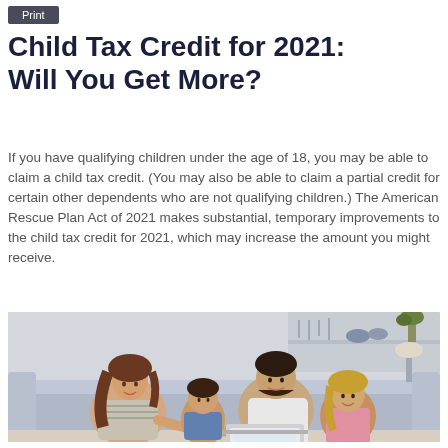Print
Child Tax Credit for 2021: Will You Get More?
If you have qualifying children under the age of 18, you may be able to claim a child tax credit. (You may also be able to claim a partial credit for certain other dependents who are not qualifying children.) The American Rescue Plan Act of 2021 makes substantial, temporary improvements to the child tax credit for 2021, which may increase the amount you might receive.
[Figure (photo): A family of four — mother, father, and two young children — sitting together on a couch, looking at a laptop. The image has warm, domestic tones with a living room background.]